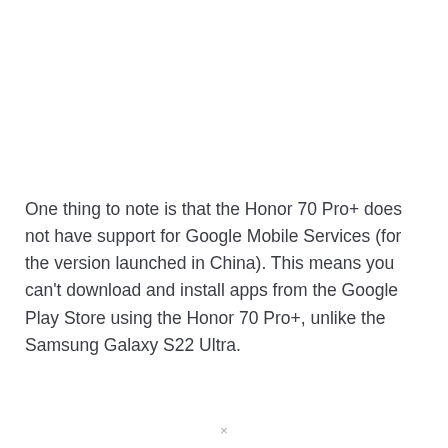One thing to note is that the Honor 70 Pro+ does not have support for Google Mobile Services (for the version launched in China). This means you can't download and install apps from the Google Play Store using the Honor 70 Pro+, unlike the Samsung Galaxy S22 Ultra.